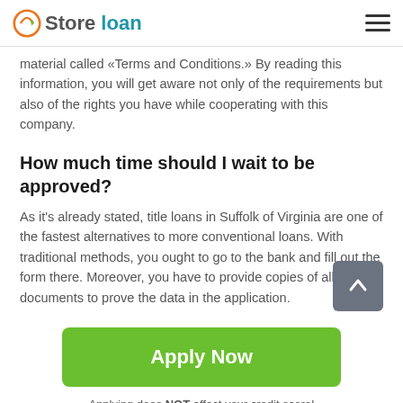Store loan
material called «Terms and Conditions.» By reading this information, you will get aware not only of the requirements but also of the rights you have while cooperating with this company.
How much time should I wait to be approved?
As it's already stated, title loans in Suffolk of Virginia are one of the fastest alternatives to more conventional loans. With traditional methods, you ought to go to the bank and fill out the form there. Moreover, you have to provide copies of all legal documents to prove the data in the application.
Apply Now
Applying does NOT affect your credit score!
No credit check to apply.